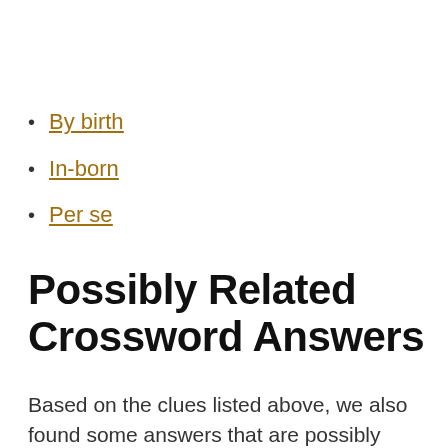By birth
In-born
Per se
Possibly Related Crossword Answers
Based on the clues listed above, we also found some answers that are possibly similar or related to INNATELY: